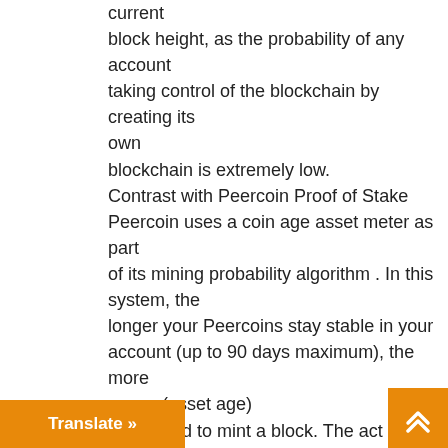current block height, as the probability of any account taking control of the blockchain by creating its own blockchain is extremely low. Contrast with Peercoin Proof of Stake Peercoin uses a coin age asset meter as part of its mining probability algorithm . In this system, the longer your Peercoins stay stable in your account (up to 90 days maximum), the more power (asset age) is required to mint a block. The act of minting a block requires coin age value consumption, and the network determines the consensus by choosing the chain with the largest total consumed coin age. …coin blocks become unclaimed,